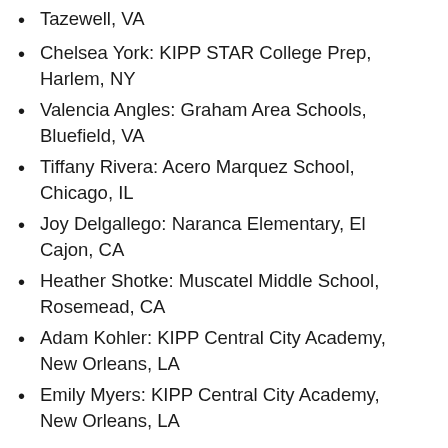Tazewell, VA
Chelsea York: KIPP STAR College Prep, Harlem, NY
Valencia Angles: Graham Area Schools, Bluefield, VA
Tiffany Rivera: Acero Marquez School, Chicago, IL
Joy Delgallego: Naranca Elementary, El Cajon, CA
Heather Shotke: Muscatel Middle School, Rosemead, CA
Adam Kohler: KIPP Central City Academy, New Orleans, LA
Emily Myers: KIPP Central City Academy, New Orleans, LA
8. Increased international perspectives through partnership with The State Department Office of Public Engagement